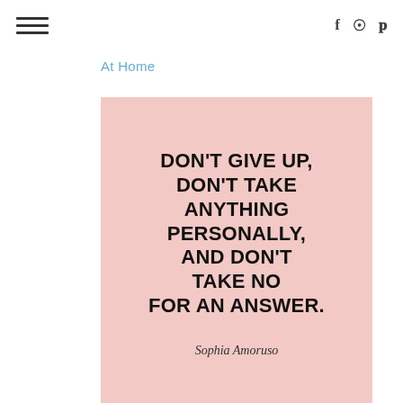≡ | f ⊙ ℗
At Home
[Figure (illustration): Pink background motivational quote card with bold uppercase text: DON'T GIVE UP, DON'T TAKE ANYTHING PERSONALLY, AND DON'T TAKE NO FOR AN ANSWER. — Sophia Amoruso]